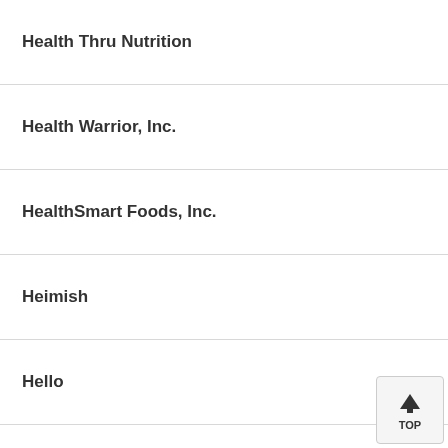Health Thru Nutrition
Health Warrior, Inc.
HealthSmart Foods, Inc.
Heimish
Hello
Herb Pharm
Herbs Etc.
Heritage Store